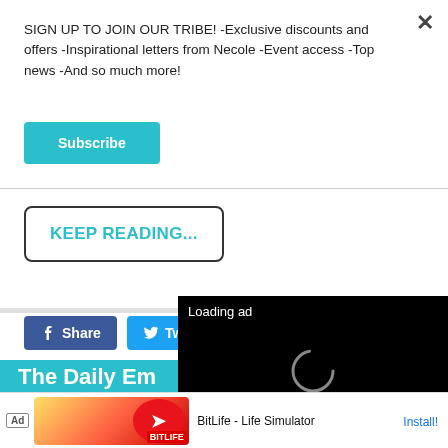SIGN UP TO JOIN OUR TRIBE! -Exclusive discounts and offers -Inspirational letters from Necole -Event access -Top news -And so much more!
Subscribe
KEEP READING...
Share
Twitter
[Figure (screenshot): Video ad overlay showing 'Loading ad' text with spinner and playback controls (pause, fullscreen, mute) on black background]
The Daily Em...
[Figure (screenshot): Ad banner for BitLife - Life Simulator with Install button]